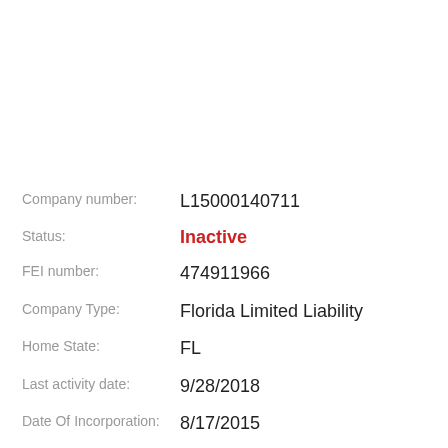Company number: L15000140711
Status: Inactive
FEI number: 474911966
Company Type: Florida Limited Liability
Home State: FL
Last activity date: 9/28/2018
Date Of Incorporation: 8/17/2015